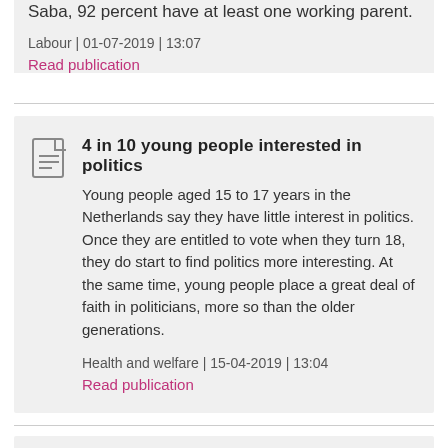Saba, 92 percent have at least one working parent.
Labour | 01-07-2019 | 13:07
Read publication
4 in 10 young people interested in politics
Young people aged 15 to 17 years in the Netherlands say they have little interest in politics. Once they are entitled to vote when they turn 18, they do start to find politics more interesting. At the same time, young people place a great deal of faith in politicians, more so than the older generations.
Health and welfare | 15-04-2019 | 13:04
Read publication